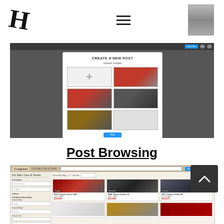[Figure (screenshot): App header with stylized H logo, hamburger menu icon, and a gray thumbnail image on the right]
[Figure (screenshot): Screenshot of a web app showing a 'CREATE A NEW POST' modal dialog with 'Upload Images' section containing a plus button and several car photos in a 2x3 grid, with a blue submit button. Background shows a darkened page.]
Post Browsing
[Figure (screenshot): Screenshot of a Craigslist-style car browsing page showing For Sale / Cars & Trucks category with sidebar filters (Location, Price, Vehicle Information, Make, Model, Trim, Year) and a grid of Toyota Camry listings with photos, descriptions, mileage and prices.]